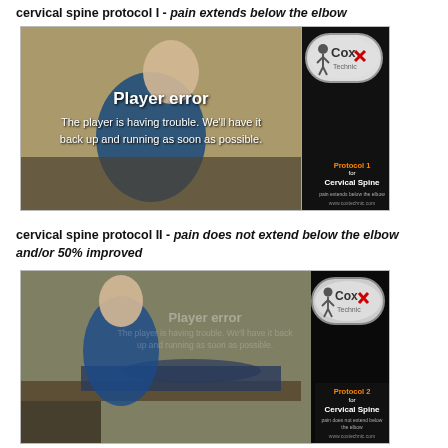cervical spine protocol I - pain extends below the elbow
[Figure (screenshot): Video player showing a chiropractor performing cervical spine protocol I. Player error message displayed: 'Player error - The player is having trouble. We'll have it back up and running as soon as possible.' Cox Technic logo visible top right. Protocol 1 for Cervical Spine info panel on right side.]
cervical spine protocol II - pain does not extend below the elbow and/or 50% improved
[Figure (screenshot): Video player showing a chiropractor performing cervical spine protocol II on a patient lying on a treatment table. Player error message faintly visible. Cox Technic logo visible top right. Protocol 2 for Cervical Spine info panel on right side.]